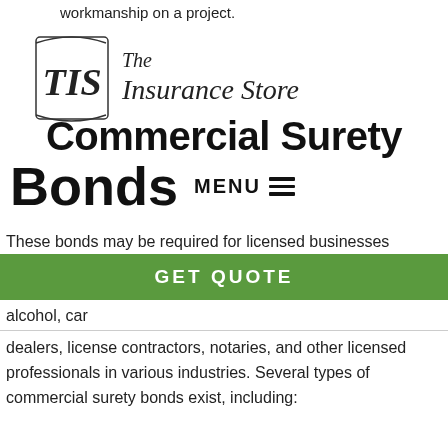workmanship on a project.
[Figure (logo): The Insurance Store logo with stylized 'TIS' initials in a decorative frame alongside italic serif text reading 'The Insurance Store']
Commercial Surety Bonds
MENU ≡
GET QUOTE
These bonds may be required for licensed businesses performing government work. These bonds are usually a requirement for specific businesses, including those that sell alcohol, car dealers, license contractors, notaries, and other licensed professionals in various industries. Several types of commercial surety bonds exist, including: